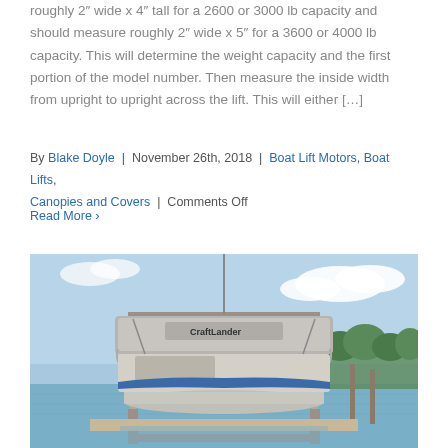roughly 2" wide x 4" tall for a 2600 or 3000 lb capacity and should measure roughly 2" wide x 5" for a 3600 or 4000 lb capacity. This will determine the weight capacity and the first portion of the model number. Then measure the inside width from upright to upright across the lift. This will either […]
By Blake Doyle | November 26th, 2018 | Boat Lift Motors, Boat Lifts, Canopies and Covers | Comments Off
Read More ›
[Figure (photo): A pontoon boat on a CraftLander boat lift with a gray canopy cover, docked at a marina on a lake with trees visible in the background and blue sky with clouds.]